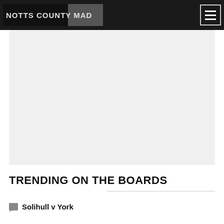NOTTS COUNTY MAD
[Figure (other): Advertisement or content area placeholder, light grey background]
TRENDING ON THE BOARDS
Solihull v York